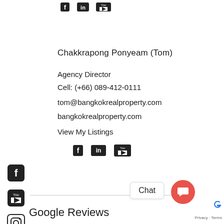[Figure (other): Social media icons: Facebook, LinkedIn, YouTube at top]
Chakkrapong Ponyeam (Tom)
Agency Director
Cell: (+66) 089-412-0111
tom@bangkokrealproperty.com
bangkokrealproperty.com
View My Listings
[Figure (other): Social media icons: Facebook, LinkedIn, YouTube in middle]
[Figure (other): Left sidebar social icons: Facebook, YouTube, Instagram, LinkedIn]
Google Reviews
Chat
Privacy · Terms